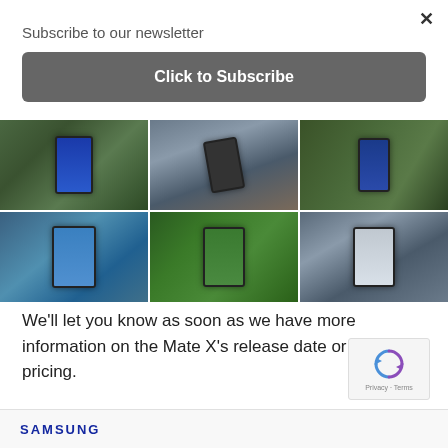Subscribe to our newsletter
Click to Subscribe
[Figure (photo): 6-image grid showing hands holding Huawei Mate X foldable smartphone from various angles against green foliage background]
We'll let you know as soon as we have more information on the Mate X's release date or local pricing.
[Figure (other): reCAPTCHA widget with recycling arrows icon and Privacy - Terms text]
[Figure (logo): Samsung logo in blue text]